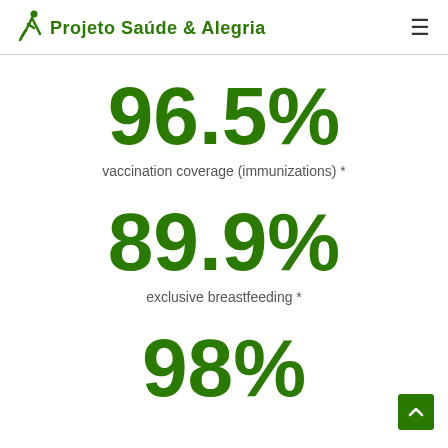Projeto Saúde & Alegria
96.5%
vaccination coverage (immunizations) *
89.9%
exclusive breastfeeding *
98%